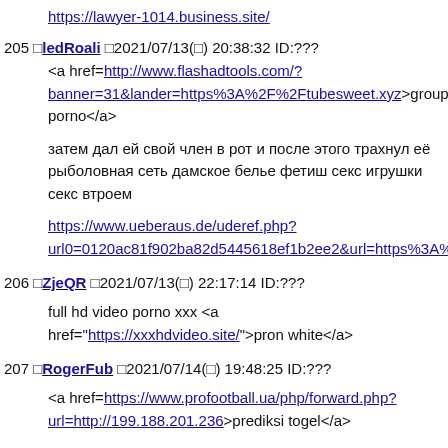https://lawyer-1014.business.site/
205 □ledRoali □2021/07/13(□) 20:38:32 ID:???
<a href=http://www.flashadtools.com/?banner=31&lander=https%3A%2F%2Ftubesweet.xyz>group porno</a>
затем дал ей свой член в рот и после этого трахнул её рыболовная сеть дамское белье фетиш секс игрушки секс втроем
https://www.ueberaus.de/uderef.php?url0=0120ac81f902ba82d5445618ef1b2ee2&url=https%3A%2...
206 □ZjeQR □2021/07/13(□) 22:17:14 ID:???
full hd video porno xxx <a href="https://xxxhdvideo.site/">pron white</a>
207 □RogerFub □2021/07/14(□) 19:48:25 ID:???
<a href=https://www.profootball.ua/php/forward.php?url=http://199.188.201.236>prediksi togel</a>